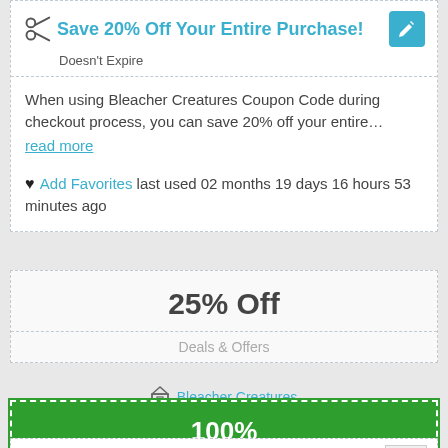Save 20% Off Your Entire Purchase!
Doesn't Expire
When using Bleacher Creatures Coupon Code during checkout process, you can save 20% off your entire...
read more
Add Favorites last used 02 months 19 days 16 hours 53 minutes ago
25% Off
Deals & Offers
Bleacher Creatures
100% WORKS
Receive 10-25% Off and Free Shipping